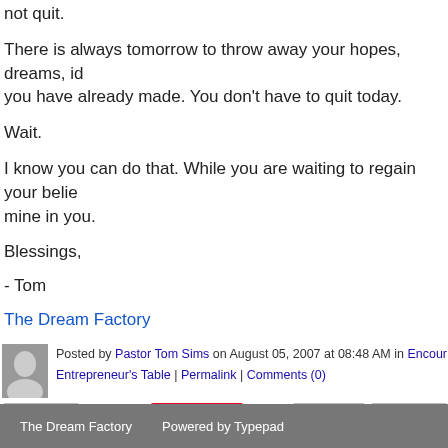not quit.
There is always tomorrow to throw away your hopes, dreams, ideas and progress you have already made. You don't have to quit today.
Wait.
I know you can do that. While you are waiting to regain your belief, borrow mine in you.
Blessings,
- Tom
The Dream Factory
Posted by Pastor Tom Sims on August 05, 2007 at 08:48 AM in Encouragement, Entrepreneur's Table | Permalink | Comments (0)
[Figure (infographic): Social sharing buttons: Reblog (0), Tweet, Pin it, Like, Digg This, Save to del]
The Dream Factory   Powered by Typepad